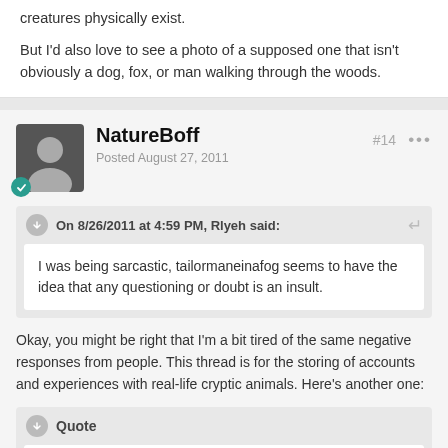creatures physically exist.

But I'd also love to see a photo of a supposed one that isn't obviously a dog, fox, or man walking through the woods.
NatureBoff
Posted August 27, 2011
#14
On 8/26/2011 at 4:59 PM, Rlyeh said:
I was being sarcastic, tailormaneinafog seems to have the idea that any questioning or doubt is an insult.
Okay, you might be right that I'm a bit tired of the same negative responses from people. This thread is for the storing of accounts and experiences with real-life cryptic animals. Here's another one:
Quote